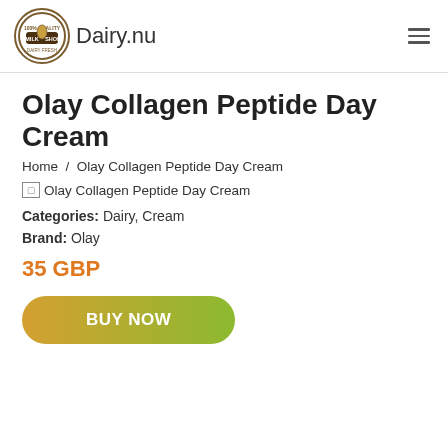Dairy.nu
Olay Collagen Peptide Day Cream
Home / Olay Collagen Peptide Day Cream
[Figure (photo): Broken image placeholder for Olay Collagen Peptide Day Cream]
Categories: Dairy, Cream
Brand: Olay
35 GBP
BUY NOW